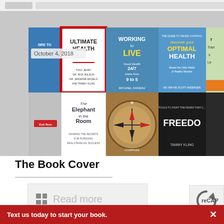[Figure (photo): A collage of book covers including 'Ultimate Health', 'Working to Live', 'Discover Your Optimal Health', 'The Elephant in the Room', 'The Compass', 'Freedom' by Tammy Kling, and others. Date label shows October 4, 2018.]
The Book Cover
Read more
Text us today to start your book.